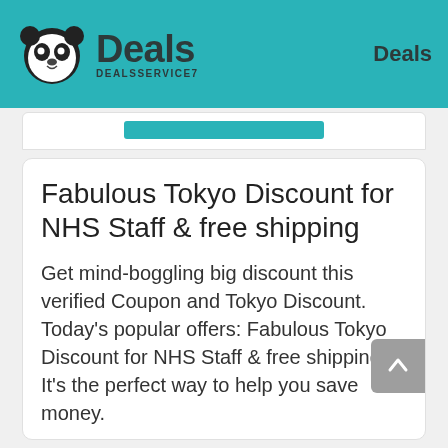Deals DEALSSERVICE7 | Deals
Fabulous Tokyo Discount for NHS Staff & free shipping
Get mind-boggling big discount this verified Coupon and Tokyo Discount. Today's popular offers: Fabulous Tokyo Discount for NHS Staff & free shipping. It's the perfect way to help you save money.
156 Used